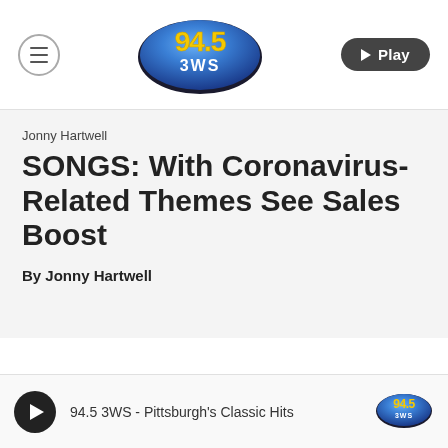[Figure (logo): 94.5 3WS radio station logo — blue oval with yellow/gold '94.5' text and white '3WS' text below]
Jonny Hartwell
SONGS: With Coronavirus-Related Themes See Sales Boost
By Jonny Hartwell
94.5 3WS - Pittsburgh's Classic Hits